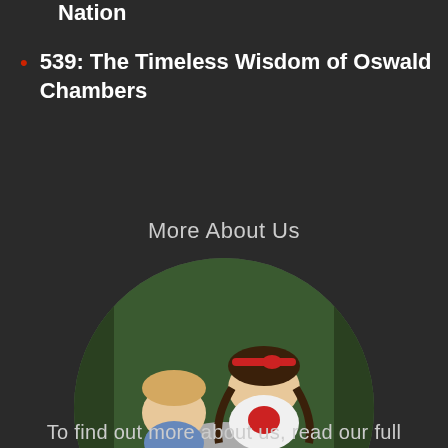Nation
539: The Timeless Wisdom of Oswald Chambers
More About Us
[Figure (photo): Circular photo of a middle-aged man with glasses and grey hair, with two young girls on his shoulders, outdoors near a trampoline and trees.]
To find out more about us, read our full